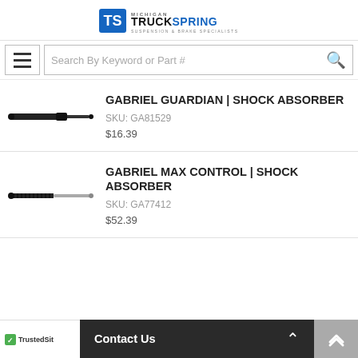Michigan TruckSpring - Suspension & Brake Specialists
[Figure (screenshot): Search bar with hamburger menu icon and magnifying glass search icon, placeholder text: Search By Keyword or Part #]
[Figure (photo): Gabriel Guardian shock absorber product image - black elongated shock absorber]
GABRIEL GUARDIAN | SHOCK ABSORBER
SKU: GA81529
$16.39
[Figure (photo): Gabriel Max Control shock absorber product image - black and grey shock absorber]
GABRIEL MAX CONTROL | SHOCK ABSORBER
SKU: GA77412
$52.39
Contact Us